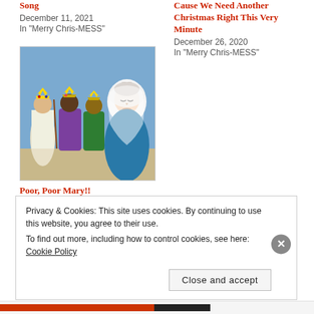Song
December 11, 2021
In "Merry Chris-MESS"
Cause We Need Another Christmas Right This Very Minute
December 26, 2020
In "Merry Chris-MESS"
[Figure (illustration): Cartoon illustration of the nativity scene: three wise men wearing crowns on the left, and Mary in a blue robe and white head covering on the right, looking tired or sad.]
Poor, Poor Mary!!
December 25, 2021
In "Merry Chris-MESS"
Privacy & Cookies: This site uses cookies. By continuing to use this website, you agree to their use.
To find out more, including how to control cookies, see here: Cookie Policy
Close and accept